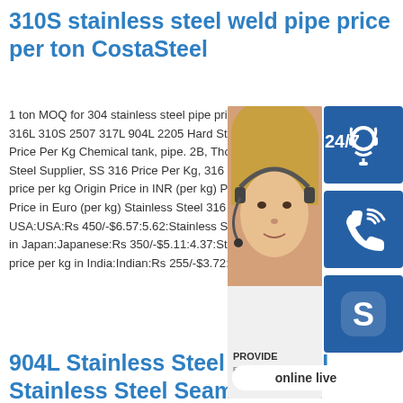310S stainless steel weld pipe price per ton CostaSteel
1 ton MOQ for 304 stainless steel pipe price. 316L 310S 2507 317L 904L 2205 Hard Stain Price Per Kg Chemical tank, pipe. 2B, Those Steel Supplier, SS 316 Price Per Kg, 316 Sta price per kg Origin Price in INR (per kg) Price Price in Euro (per kg) Stainless Steel 316 pri USA:USA:Rs 450/-$6.57:5.62:Stainless Stee in Japan:Japanese:Rs 350/-$5.11:4.37:Stain price per kg in India:Indian:Rs 255/-$3.72:3.1
[Figure (infographic): Contact widget panel with a woman wearing a headset (customer support photo), 24/7 label, three blue icon boxes (headset icon, phone/signal icon, Skype icon), provide text, and an 'online live' badge]
904L Stainless Steel Pipe 904L Stainless Steel Seamless
904L Stainless Steel Pipe and Tube Packing904L Stainless Steel Seamless Pipes and Tubes is sleeved into plastic bag individually, pieces wrapped with water-proof material, bundled with nylon rope. Clear labels are tagged on the outside of the package for 904L Xm 19 316ti 316ln Austenitic